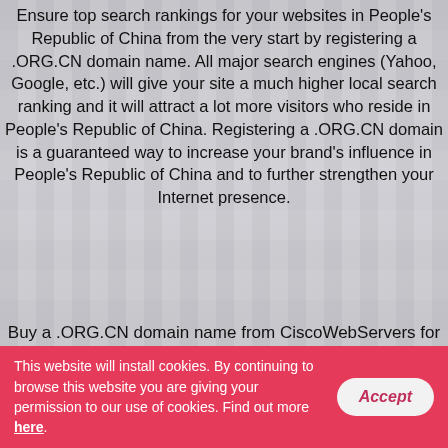Ensure top search rankings for your websites in People's Republic of China from the very start by registering a .ORG.CN domain name. All major search engines (Yahoo, Google, etc.) will give your site a much higher local search ranking and it will attract a lot more visitors who reside in People's Republic of China. Registering a .ORG.CN domain is a guaranteed way to increase your brand's influence in People's Republic of China and to further strengthen your Internet presence.
Buy a .ORG.CN domain name from CiscoWebServers for just $10.50 per year!
.ORG.CN Domain Name
[Figure (other): Live Chat bubble widget in top-right area]
This website will install cookies. By continuing to browse this website you are giving your permission to our use of cookies. Find out more here.